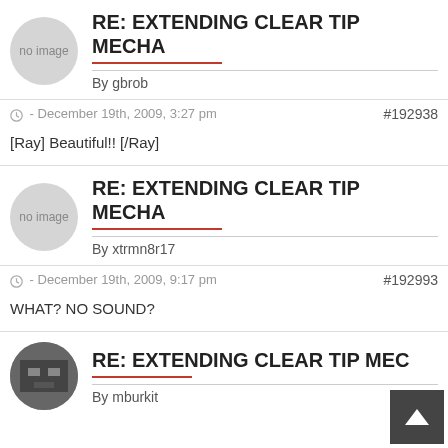RE: EXTENDING CLEAR TIP MECHA
By gbrob
- December 19th, 2009, 3:27 pm  #192938
[Ray] Beautiful!! [/Ray]
RE: EXTENDING CLEAR TIP MECHA
By xtrmn8r17
- December 19th, 2009, 9:17 pm  #192993
WHAT? NO SOUND?
RE: EXTENDING CLEAR TIP MECHA
By mburkit